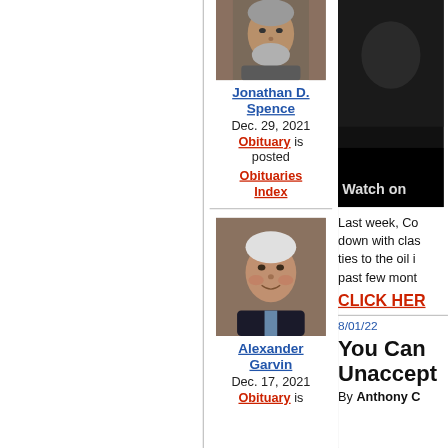[Figure (photo): Portrait photo of Jonathan D. Spence, older man with grey beard]
Jonathan D. Spence
Dec. 29, 2021
Obituary is posted
Obituaries Index
[Figure (photo): Portrait photo of Alexander Garvin, older man with white hair smiling]
Alexander Garvin
Dec. 17, 2021
Obituary is
[Figure (photo): Video thumbnail, dark image, Watch on label visible]
Last week, Co down with clas ties to the oil i past few mont
CLICK HER
8/01/22
You Can Unaccept
By Anthony C